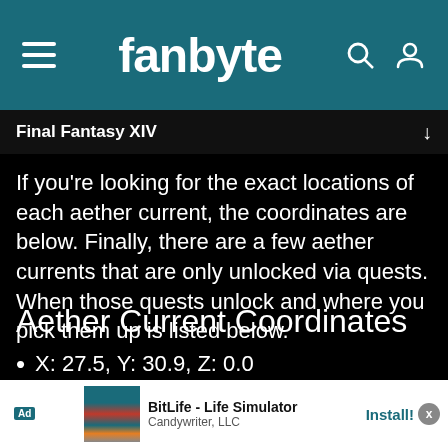fanbyte
Final Fantasy XIV
If you’re looking for the exact locations of each aether current, the coordinates are below. Finally, there are a few aether currents that are only unlocked via quests. When those quests unlock and where you pick them up is listed below.
Aether Current Coordinates
X: 27.5, Y: 30.9, Z: 0.0
X: 17.0, Y: 32.2, Z: 0.2